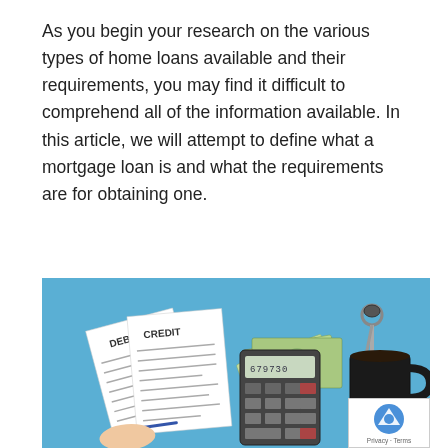As you begin your research on the various types of home loans available and their requirements, you may find it difficult to comprehend all of the information available. In this article, we will attempt to define what a mortgage loan is and what the requirements are for obtaining one.
[Figure (illustration): Illustration on a light blue background showing financial documents labeled DEBT and CREDIT, a calculator with numbers displayed, scattered US dollar bills, a set of keys, a black coffee mug, and a hand writing with a pen.]